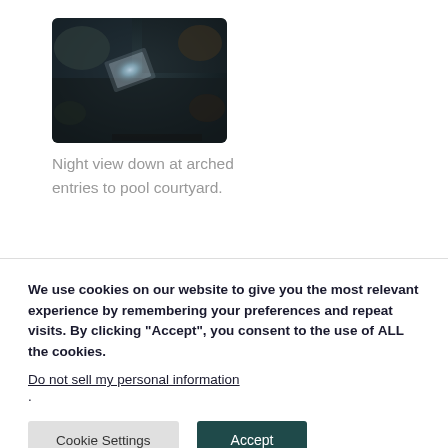[Figure (photo): Dark nighttime photograph viewed from above showing arched entries to a pool courtyard, with dramatic lighting highlighting a glowing rectangular element against stone or pavement surfaces.]
Night view down at arched entries to pool courtyard.
We use cookies on our website to give you the most relevant experience by remembering your preferences and repeat visits. By clicking “Accept”, you consent to the use of ALL the cookies.
Do not sell my personal information.
Cookie Settings
Accept